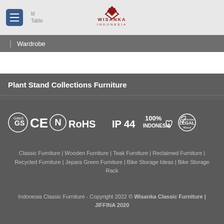[Figure (logo): Wisanka Indonesia logo with chevron/arrow mark in dark red and company name]
Wardrobe
Plant Stand Collections Furniture
reclaimed teak furniture
[Figure (infographic): Certification logos row: GS, CE, N, RoHS, IP 44, 100% Indonesia, Indonesian Legal Wood]
Classic Furniture | Wooden Furniture | Teak Furniture | Reclaimed Furniture | Recycled Furniture | Jepara Green Furniture | Bike Storage Ideas | Bike Storage Rack
Indonesia Classic Furniture - Copyright 2022 © Wisanka Classic Furniture | JIFFINA 2020